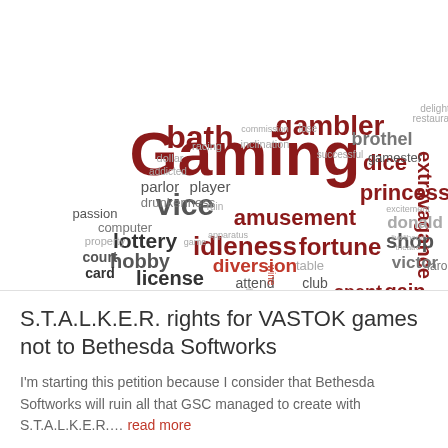[Figure (infographic): Word cloud related to gaming with words like Gaming (largest, dark red), vice, idleness, fortune, amusement, lottery, hobby, license, diversion, gambler, bath, dice, betting, gentleman, extravagance, princess, spent, gain, pound, playing, parlor, player, drunkenness, passion, computer, property, court, card, hell, main, shop, victor, donald, faro, and many smaller words in various shades of gray, dark red, and red.]
S.T.A.L.K.E.R. rights for VASTOK games not to Bethesda Softworks
I'm starting this petition because I consider that Bethesda Softworks will ruin all that GSC managed to create with S.T.A.L.K.E.R.... read more